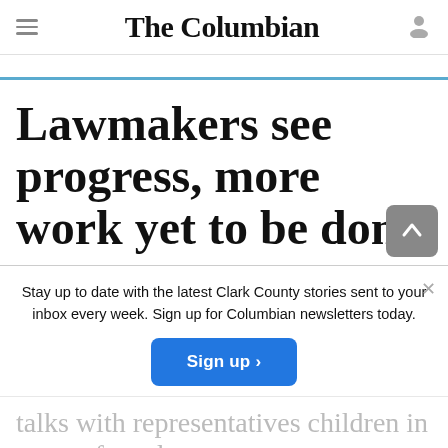The Columbian
Lawmakers see progress, more work yet to be done
Stay up to date with the latest Clark County stories sent to your inbox every week. Sign up for Columbian newsletters today.
Sign up >